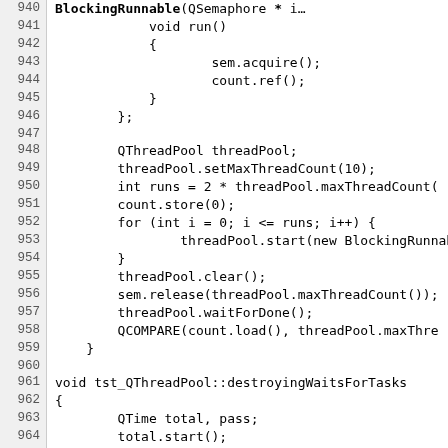[Figure (other): Source code listing showing C++ Qt thread pool test code, lines 940-970]